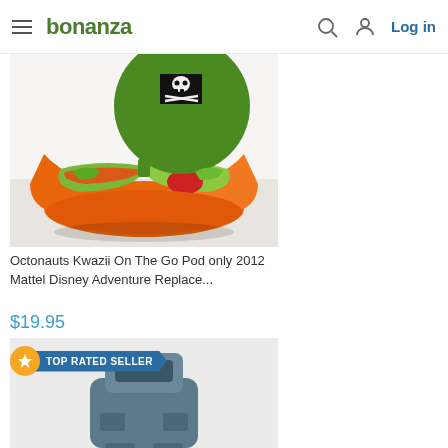bonanza | Log in
[Figure (photo): Octonauts Kwazii On The Go Pod toy, open orange shell with green interior and pirate flag]
Octonauts Kwazii On The Go Pod only 2012 Mattel Disney Adventure Replace...
$19.95
[Figure (photo): Blue/grey robot or vehicle toy figure, partially visible from bottom of frame, with TOP RATED SELLER badge overlay]